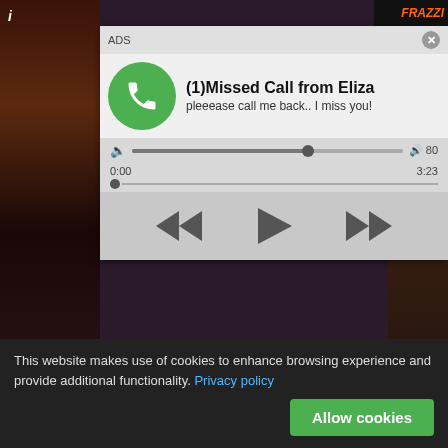[Figure (screenshot): Ad popup: Missed Call notification with green phone icon, audio player bar, playback controls (rewind, play, fast-forward). Title: (1)Missed Call from Eliza. Subtitle: pleeease call me back.. I miss you! Time shown: 0:00 / 3:23]
[Figure (screenshot): Digital Player bar at bottom of video area. Logo: DIGITAL PLAYER on left, Azianilro on right.]
[Figure (screenshot): Dating ad with woman taking selfie, REC badge with red dot. Text: ADS • Dating for men! Find bad girls here with heart emoji. Woman photo with tracking boxes overlaid.]
This website makes use of cookies to enhance browsing experience and provide additional functionality. Privacy policy
Allow cookies